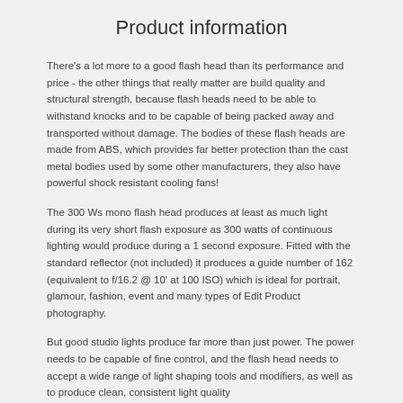Product information
There's a lot more to a good flash head than its performance and price - the other things that really matter are build quality and structural strength, because flash heads need to be able to withstand knocks and to be capable of being packed away and transported without damage. The bodies of these flash heads are made from ABS, which provides far better protection than the cast metal bodies used by some other manufacturers, they also have powerful shock resistant cooling fans!
The 300 Ws mono flash head produces at least as much light during its very short flash exposure as 300 watts of continuous lighting would produce during a 1 second exposure. Fitted with the standard reflector (not included) it produces a guide number of 162 (equivalent to f/16.2 @ 10' at 100 ISO) which is ideal for portrait, glamour, fashion, event and many types of Edit Product photography.
But good studio lights produce far more than just power. The power needs to be capable of fine control, and the flash head needs to accept a wide range of light shaping tools and modifiers, as well as to produce clean, consistent light quality